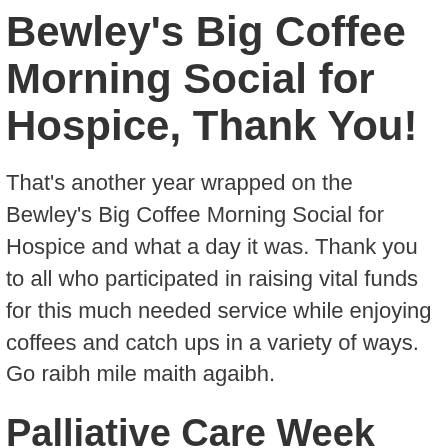Bewley's Big Coffee Morning Social for Hospice, Thank You!
That's another year wrapped on the Bewley's Big Coffee Morning Social for Hospice and what a day it was. Thank you to all who participated in raising vital funds for this much needed service while enjoying coffees and catch ups in a variety of ways. Go raibh mile maith agaibh.
Palliative Care Week
We were delighted to support the wonderful work of the All Ireland Institute of Palliative care as they marked the